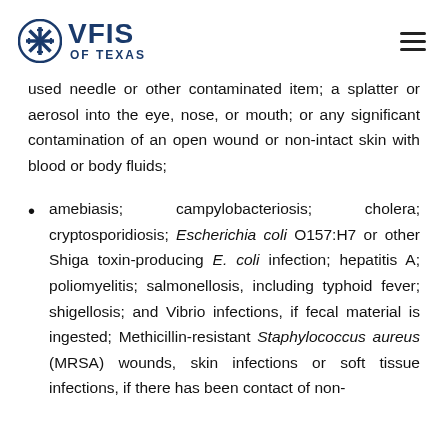VFIS OF TEXAS
used needle or other contaminated item; a splatter or aerosol into the eye, nose, or mouth; or any significant contamination of an open wound or non-intact skin with blood or body fluids;
amebiasis; campylobacteriosis; cholera; cryptosporidiosis; Escherichia coli O157:H7 or other Shiga toxin-producing E. coli infection; hepatitis A; poliomyelitis; salmonellosis, including typhoid fever; shigellosis; and Vibrio infections, if fecal material is ingested; Methicillin-resistant Staphylococcus aureus (MRSA) wounds, skin infections or soft tissue infections, if there has been contact of non-